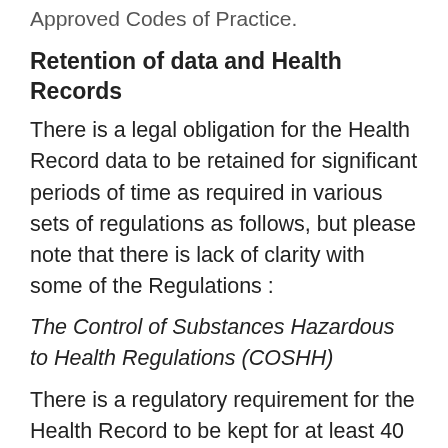Approved Codes of Practice.
Retention of data and Health Records
There is a legal obligation for the Health Record data to be retained for significant periods of time as required in various sets of regulations as follows, but please note that there is lack of clarity with some of the Regulations :
The Control of Substances Hazardous to Health Regulations (COSHH)
There is a regulatory requirement for the Health Record to be kept for at least 40 years (from the date of the last entry). (COSHH L5 5th edition, para 252)